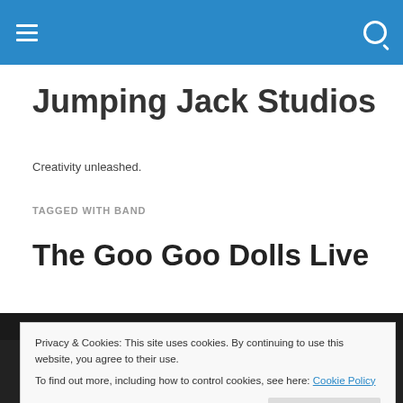Jumping Jack Studios — navigation bar
Jumping Jack Studios
Creativity unleashed.
TAGGED WITH BAND
The Goo Goo Dolls Live
[Figure (photo): Dark/black photo strip partially visible at bottom of page]
Privacy & Cookies: This site uses cookies. By continuing to use this website, you agree to their use.
To find out more, including how to control cookies, see here: Cookie Policy